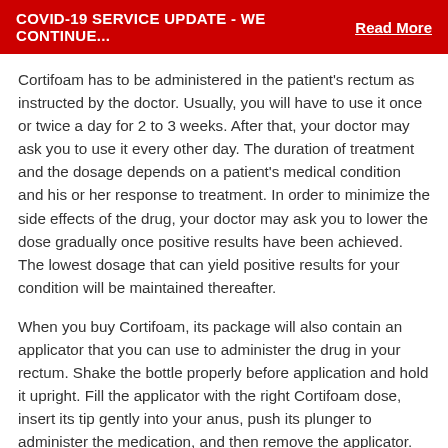COVID-19 SERVICE UPDATE - WE CONTINUE...   Read More
Cortifoam has to be administered in the patient's rectum as instructed by the doctor. Usually, you will have to use it once or twice a day for 2 to 3 weeks. After that, your doctor may ask you to use it every other day. The duration of treatment and the dosage depends on a patient's medical condition and his or her response to treatment. In order to minimize the side effects of the drug, your doctor may ask you to lower the dose gradually once positive results have been achieved. The lowest dosage that can yield positive results for your condition will be maintained thereafter.
When you buy Cortifoam, its package will also contain an applicator that you can use to administer the drug in your rectum. Shake the bottle properly before application and hold it upright. Fill the applicator with the right Cortifoam dose, insert its tip gently into your anus, push its plunger to administer the medication, and then remove the applicator. Wash the applicator, container tip, and cap with warm water after use, and also wash your hands. Administering more Cortifoam than prescribed will not help in achieving the